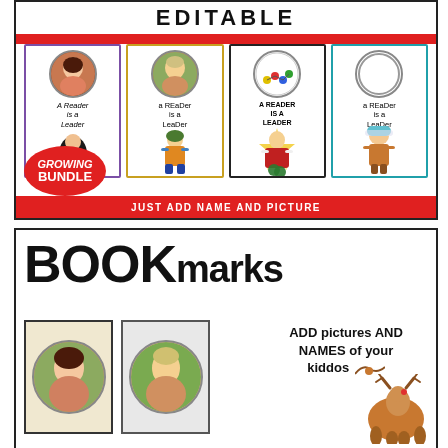[Figure (illustration): Top panel showing editable bookmarks bundle product cover. Has 'EDITABLE' header text with diagonal stripes, a red horizontal bar, four bookmarks with circular photo placeholders and 'A Reader is a Leader' text, seasonal character illustrations (witch, scarecrow, Santa, winter child), a red 'GROWING BUNDLE' badge circle, and a red bottom bar reading 'JUST ADD NAME AND PICTURE'.]
[Figure (illustration): Bottom panel showing bookmarks product preview. Large bold 'BOOKmarks' title, two photo frame previews with circular child portraits, and text 'ADD pictures AND NAMES of your kiddos' with a partial reindeer/deer illustration.]